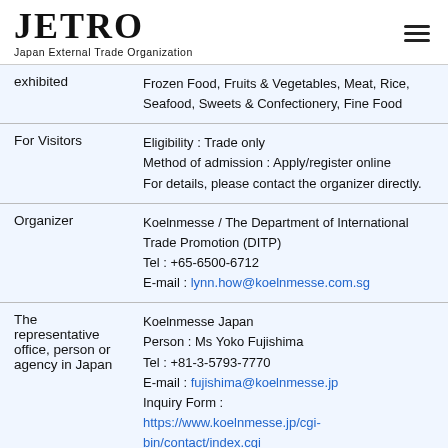[Figure (logo): JETRO Japan External Trade Organization logo with hamburger menu icon]
| exhibited | Frozen Food, Fruits & Vegetables, Meat, Rice, Seafood, Sweets & Confectionery, Fine Food |
| For Visitors | Eligibility : Trade only
Method of admission : Apply/register online
For details, please contact the organizer directly. |
| Organizer | Koelnmesse / The Department of International Trade Promotion (DITP)
Tel : +65-6500-6712
E-mail : lynn.how@koelnmesse.com.sg |
| The representative office, person or agency in Japan | Koelnmesse Japan
Person : Ms Yoko Fujishima
Tel : +81-3-5793-7770
E-mail : fujishima@koelnmesse.jp
Inquiry Form :
https://www.koelnmesse.jp/cgi-bin/contact/index.cgi |